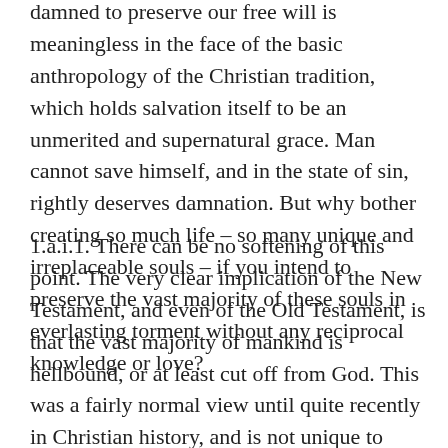damned to preserve our free will is meaningless in the face of the basic anthropology of the Christian tradition, which holds salvation itself to be an unmerited and supernatural grace. Man cannot save himself, and in the state of sin, rightly deserves damnation. But why bother creating so much life – so many unique and irreplaceable souls – if you intend to preserve the vast majority of these souls in everlasting torment without any reciprocal knowledge or love?
1.a.i.1. There can be no softening of this point. The very clear implication of the New Testament, and even of the Old Testament, is that the vast majority of mankind is hellbound, or at least cut off from God. This was a fairly normal view until quite recently in Christian history, and is not unique to Catholics, Protestants, or Orthodox.